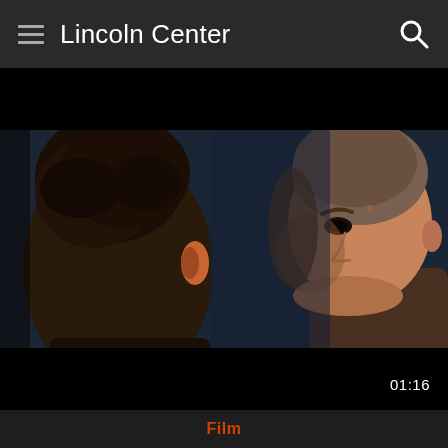Lincoln Center
[Figure (photo): Film still showing two men facing each other in profile — the back of one man's head with curly dark hair is on the left, while a young man with a closely shaved head faces him on the right against a dark blue background. The right-facing man has an intense expression. A video duration badge reads 01:16.]
Film